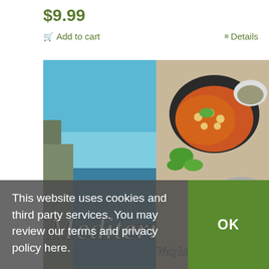$9.99
🛒 Add to cart
≡ Details
[Figure (photo): Book cover image for 'Mediterranean Weight Loss Program' showing a split image: left side has a coastal/ocean scene with blue sky, right side shows Mediterranean food dishes including a bowl of soup/stew with chickpeas and herbs, and a smaller bowl with spices. The title 'Mediterranean' appears in large italic script across the bottom of the image, with 'Weight Loss Program' text below.]
This website uses cookies and third party services. You may review our terms and privacy policy here.